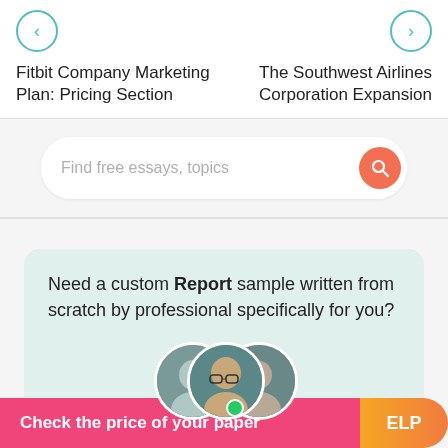< Fitbit Company Marketing Plan: Pricing Section
> The Southwest Airlines Corporation Expansion
Find free essays, topics
Need a custom Report sample written from scratch by professional specifically for you?
801 certified writers online
Check the price of your paper
ELP